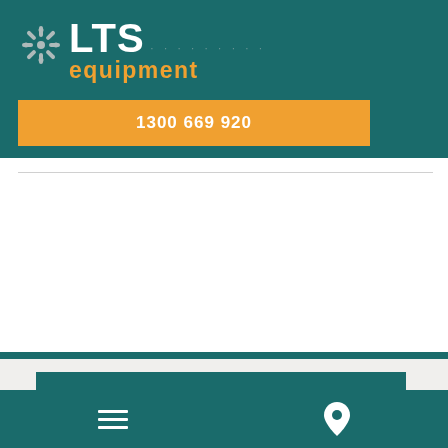[Figure (logo): LTS Equipment logo with snowflake icon, white LTS text and orange 'equipment' text on teal background]
1300 669 920
Categories
View All
hamburger menu icon and location pin icon on teal navigation bar